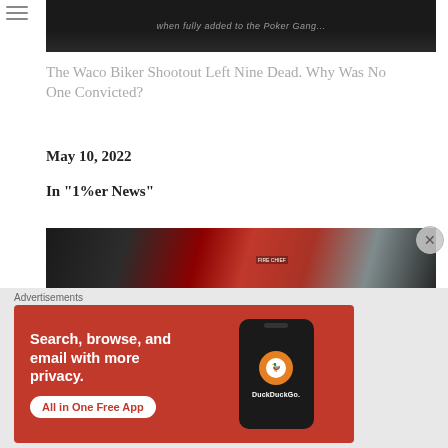[Figure (photo): Dark clothing with partial text visible at top of page]
The Waco Biker Shootout Left Nine Dead. Why Was No One Convicted?
May 10, 2022
In "1%er News"
[Figure (photo): Motorcycle and red fire-related machinery/equipment in a garage or workshop setting]
Advertisements
[Figure (infographic): DuckDuckGo advertisement: Search, browse, and email with more privacy. All in One Free App. Shows phone mockup with DuckDuckGo logo.]